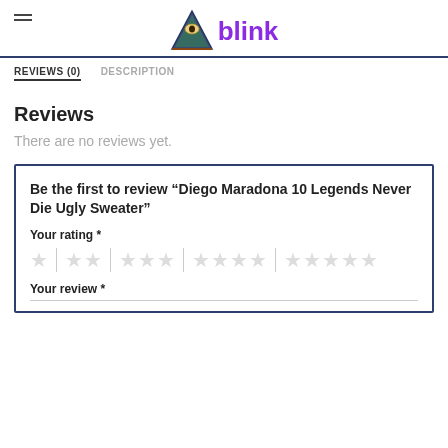blink
REVIEWS (0)
DESCRIPTION
Reviews
There are no reviews yet.
Be the first to review “Diego Maradona 10 Legends Never Die Ugly Sweater”
Your rating *
Your review *